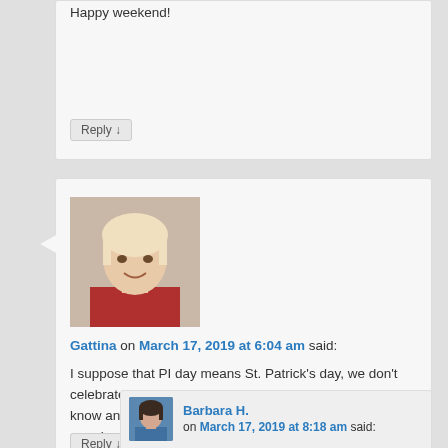Happy weekend!
Reply ↓
[Figure (photo): Profile photo of Gattina, a blonde woman smiling, wearing red]
Gattina on March 17, 2019 at 6:04 am said:
I suppose that PI day means St. Patrick's day, we don't celebrate that in Belgium only the Irish do. So I didn't know and was surprised to find all these celbrations this morning !
Reply ↓
[Figure (photo): Profile photo of Barbara H., a woman with dark hair wearing blue]
Barbara H. on March 17, 2019 at 8:18 am said: